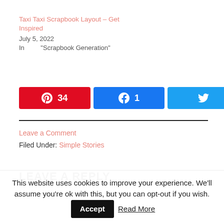Taxi Taxi Scrapbook Layout – Get Inspired
July 5, 2022
In "Scrapbook Generation"
Pinterest 34 | Facebook 1 | Twitter share buttons
Leave a Comment
Filed Under: Simple Stories
LEAVE A REPLY
This website uses cookies to improve your experience. We'll assume you're ok with this, but you can opt-out if you wish. Accept Read More